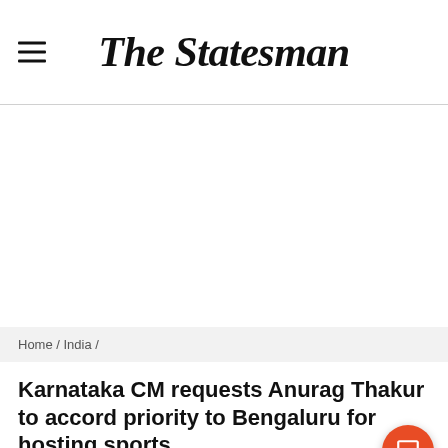The Statesman
[Figure (other): Empty white advertisement area]
Home / India /
Karnataka CM requests Anurag Thakur to accord priority to Bengaluru for hosting sports